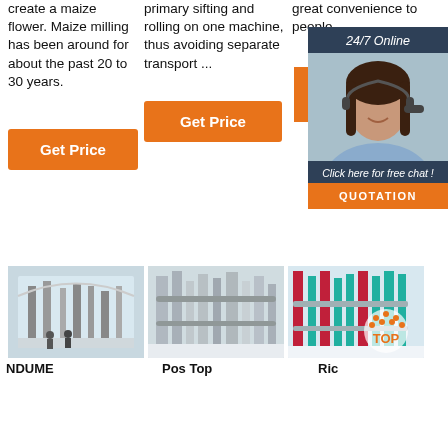create a maize flower. Maize milling has been around for about the past 20 to 30 years.
primary sifting and rolling on one machine, thus avoiding separate transport ...
great convenience to people.
[Figure (other): Customer service chat widget with photo of woman with headset, 24/7 Online header, Click here for free chat text, QUOTATION button]
[Figure (photo): Industrial maize milling equipment inside a factory]
[Figure (photo): Industrial milling machines and piping in a factory]
[Figure (photo): Industrial milling facility with TOP badge overlay]
NDUME
Pos Top
Ric